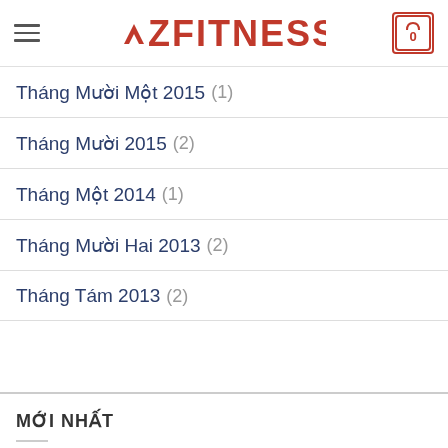AZFITNESS
Tháng Mười Một 2015 (1)
Tháng Mười 2015 (2)
Tháng Một 2014 (1)
Tháng Mười Hai 2013 (2)
Tháng Tám 2013 (2)
MỚI NHẤT